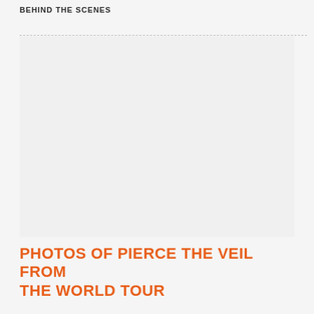BEHIND THE SCENES
[Figure (photo): Large photo placeholder area, appears blank/white on the page]
PHOTOS OF PIERCE THE VEIL FROM THE WORLD TOUR